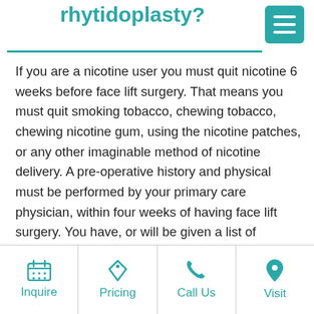rhytidoplasty?
If you are a nicotine user you must quit nicotine 6 weeks before face lift surgery. That means you must quit smoking tobacco, chewing tobacco, chewing nicotine gum, using the nicotine patches, or any other imaginable method of nicotine delivery. A pre-operative history and physical must be performed by your primary care physician, within four weeks of having face lift surgery. You have, or will be given a list of prohibited medications. Please refer to this list to
Inquire | Pricing | Call Us | Visit